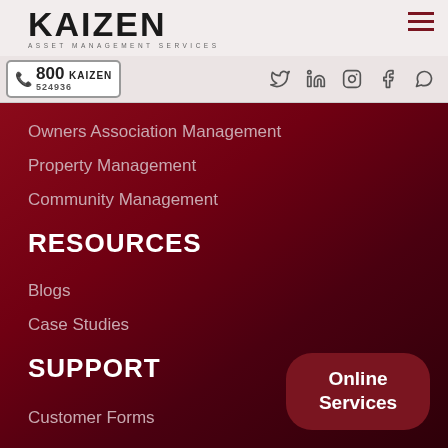KAIZEN ASSET MANAGEMENT SERVICES
800 KAIZEN 524936
Owners Association Management
Property Management
Community Management
RESOURCES
Blogs
Case Studies
SUPPORT
Customer Forms
Online Services